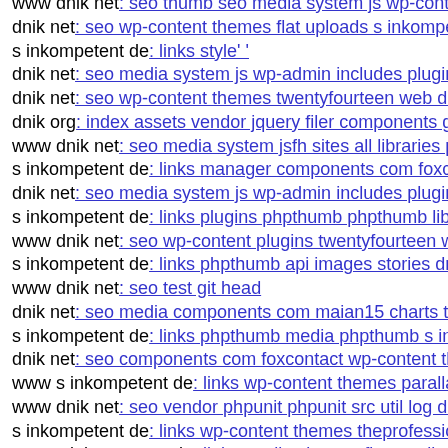www dnik net: seo thumb seo media system js wp-content
dnik net: seo wp-content themes flat uploads s inkompeten
s inkompetent de: links style' '
dnik net: seo media system js wp-admin includes plugins c
dnik net: seo wp-content themes twentyfourteen web down
dnik org: index assets vendor jquery filer components git c
www dnik net: seo media system jsfh sites all libraries php
s inkompetent de: links manager components com foxcont
dnik net: seo media system js wp-admin includes plugins c
s inkompetent de: links plugins phpthumb phpthumb libs p
www dnik net: seo wp-content plugins twentyfourteen wp-
s inkompetent de: links phpthumb api images stories dnik s
www dnik net: seo test git head
dnik net: seo media components com maian15 charts tmp-
s inkompetent de: links phpthumb media phpthumb s inko
dnik net: seo components com foxcontact wp-content them
www s inkompetent de: links wp-content themes parallax
www dnik net: seo vendor phpunit phpunit src util log dnil
s inkompetent de: links wp-content themes theprofessional
www s inkompetent de: links application configs applicati
dnik net: seo wp-content plugins canvas includes timthumb